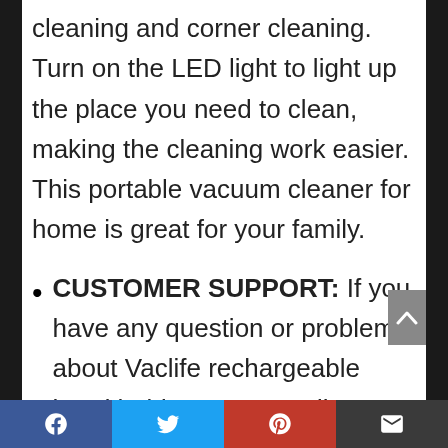cleaning and corner cleaning. Turn on the LED light to light up the place you need to clean, making the cleaning work easier. This portable vacuum cleaner for home is great for your family.
CUSTOMER SUPPORT: If you have any question or problem about Vaclife rechargeable hand held vacuum cordless, please contact Vaclife customer team. Vaclife customer team is ready for your inquiry and will try the best to help every customer.
[Facebook] [Twitter] [Pinterest] [Email]